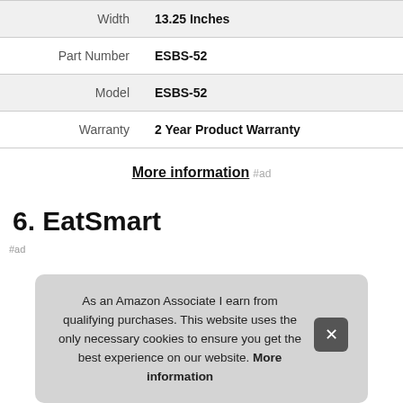| Width | 13.25 Inches |
| Part Number | ESBS-52 |
| Model | ESBS-52 |
| Warranty | 2 Year Product Warranty |
More information #ad
6. EatSmart
As an Amazon Associate I earn from qualifying purchases. This website uses the only necessary cookies to ensure you get the best experience on our website. More information